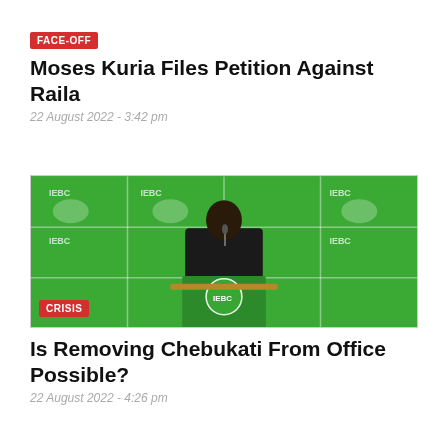FACE-OFF
Moses Kuria Files Petition Against Raila
22 August 2022 - 3:42 pm
[Figure (photo): Man in dark jacket speaking at an IEBC podium with green IEBC backdrop featuring logos]
CRISIS
Is Removing Chebukati From Office Possible?
22 August 2022 - 4:26 pm